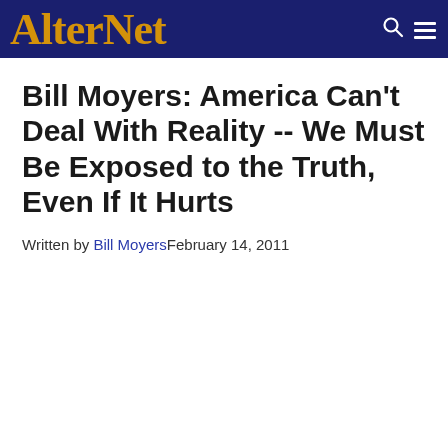AlterNet
Bill Moyers: America Can't Deal With Reality -- We Must Be Exposed to the Truth, Even If It Hurts
Written by Bill Moyers February 14, 2011